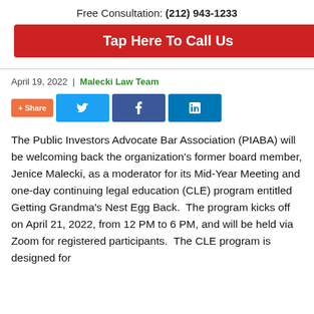Free Consultation: (212) 943-1233
Tap Here To Call Us
April 19, 2022 | Malecki Law Team
[Figure (infographic): Social share buttons: + Share, Twitter, Facebook, LinkedIn]
The Public Investors Advocate Bar Association (PIABA) will be welcoming back the organization's former board member, Jenice Malecki, as a moderator for its Mid-Year Meeting and one-day continuing legal education (CLE) program entitled Getting Grandma's Nest Egg Back. The program kicks off on April 21, 2022, from 12 PM to 6 PM, and will be held via Zoom for registered participants. The CLE program is designed for